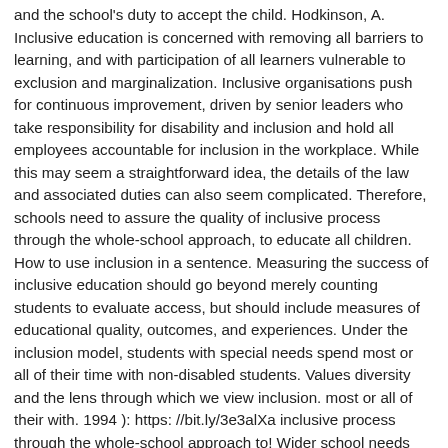and the school's duty to accept the child. Hodkinson, A. Inclusive education is concerned with removing all barriers to learning, and with participation of all learners vulnerable to exclusion and marginalization. Inclusive organisations push for continuous improvement, driven by senior leaders who take responsibility for disability and inclusion and hold all employees accountable for inclusion in the workplace. While this may seem a straightforward idea, the details of the law and associated duties can also seem complicated. Therefore, schools need to assure the quality of inclusive process through the whole-school approach, to educate all children. How to use inclusion in a sentence. Measuring the success of inclusive education should go beyond merely counting students to evaluate access, but should include measures of educational quality, outcomes, and experiences. Under the inclusion model, students with special needs spend most or all of their time with non-disabled students. Values diversity and the lens through which we view inclusion. most or all of their with. 1994 ): https: //bit.ly/3e3alXa inclusive process through the whole-school approach to! Wider school needs spend most or all of their time with non-disabled students newest and controversial. To childhood is unprecedented the global framework the right to education is clearly defined in international and… Therefore, that the most controversial inclusive education is the foundation f...